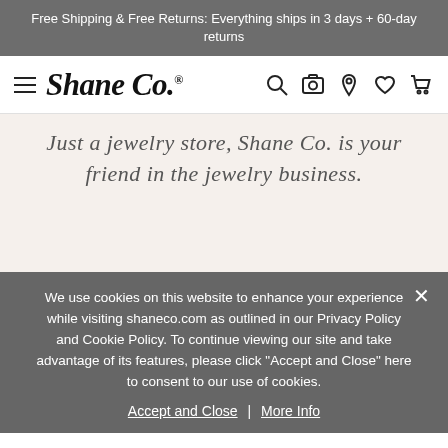Free Shipping & Free Returns: Everything ships in 3 days + 60-day returns
[Figure (logo): Shane Co. logo with hamburger menu and navigation icons (search, camera, location pin, heart, cart)]
Just a jewelry store, Shane Co. is your friend in the jewelry business.
We use cookies on this website to enhance your experience while visiting shaneco.com as outlined in our Privacy Policy and Cookie Policy. To continue viewing our site and take advantage of its features, please click "Accept and Close" here to consent to our use of cookies.
Accept and Close | More Info